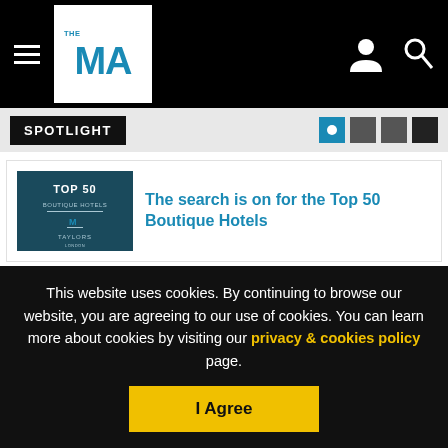THE MA - Navigation bar with hamburger menu, logo, user icon, and search icon
SPOTLIGHT
[Figure (illustration): Top 50 Boutique Hotels award graphic on dark teal background with TAYLORS branding]
The search is on for the Top 50 Boutique Hotels
MOST POPULAR NEWS
This website uses cookies. By continuing to browse our website, you are agreeing to our use of cookies. You can learn more about cookies by visiting our privacy & cookies policy page.
I Agree